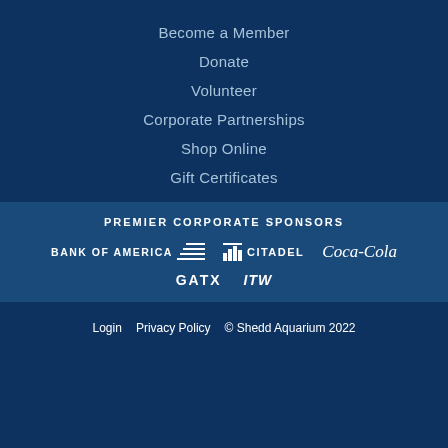Become a Member
Donate
Volunteer
Corporate Partnerships
Shop Online
Gift Certificates
PREMIER CORPORATE SPONSORS
[Figure (logo): Bank of America logo with stripe icon]
[Figure (logo): Citadel logo with icon]
[Figure (logo): Coca-Cola logo in script]
[Figure (logo): GATX logo]
[Figure (logo): ITW logo in italic]
Login   Privacy Policy   © Shedd Aquarium 2022